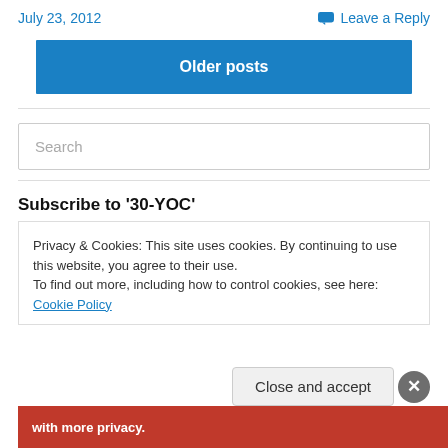July 23, 2012
Leave a Reply
Older posts
Search
Subscribe to '30-YOC'
Privacy & Cookies: This site uses cookies. By continuing to use this website, you agree to their use.
To find out more, including how to control cookies, see here: Cookie Policy
Close and accept